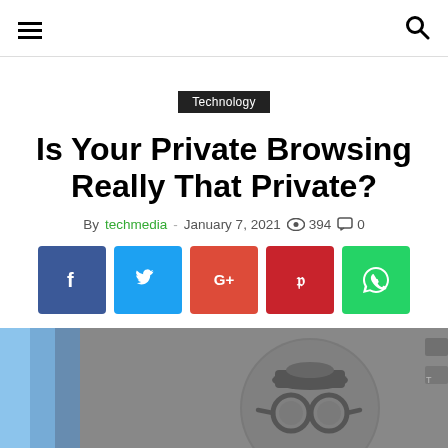Navigation menu and search icon
Technology
Is Your Private Browsing Really That Private?
By techmedia - January 7, 2021  394  0
[Figure (other): Social sharing buttons: Facebook, Twitter, Google+, Pinterest, WhatsApp]
[Figure (photo): Close-up photo of a smartphone screen showing Google Chrome incognito mode icon with text 'You've go...' and 'Pr...']